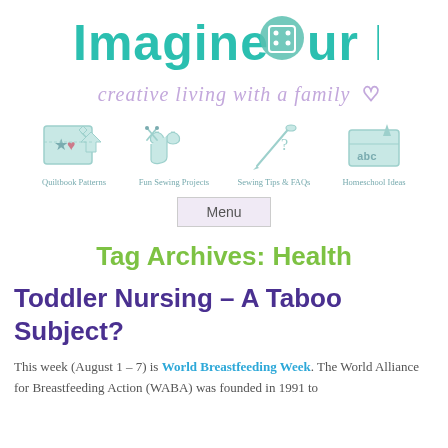[Figure (logo): Imagine Our Life blog logo with teal decorative text, button icon, and purple script tagline 'creative living with a family']
[Figure (infographic): Four navigation icons: Quiltbook Patterns (sewing pattern icon), Fun Sewing Projects (scissors and heart), Sewing Tips & FAQs (needle), Homeschool Ideas (pencil and abc)]
Menu
Tag Archives: Health
Toddler Nursing – A Taboo Subject?
This week (August 1 – 7) is World Breastfeeding Week. The World Alliance for Breastfeeding Action (WABA) was founded in 1991 to